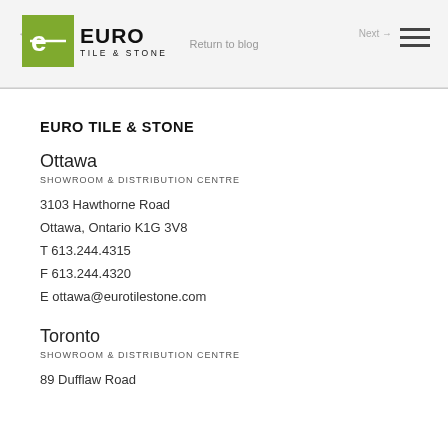← Previous   Return to blog   Next →
[Figure (logo): Euro Tile & Stone logo with green square containing stylized E and company name text]
EURO TILE & STONE
Ottawa
SHOWROOM & DISTRIBUTION CENTRE
3103 Hawthorne Road
Ottawa, Ontario K1G 3V8
T 613.244.4315
F 613.244.4320
E ottawa@eurotilestone.com
Toronto
SHOWROOM & DISTRIBUTION CENTRE
89 Dufflaw Road